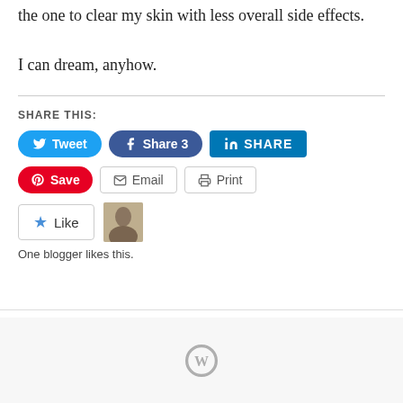the one to clear my skin with less overall side effects.
I can dream, anyhow.
SHARE THIS:
[Figure (infographic): Social share buttons: Tweet (Twitter, blue rounded), Share 3 (Facebook, blue rounded), SHARE (LinkedIn, teal square), Save (Pinterest, red rounded), Email (grey outlined), Print (grey outlined). Below: Like button with star icon and blogger avatar thumbnail. Text: One blogger likes this.]
[Figure (logo): WordPress logo (circle with W) in grey, centered at bottom of page footer area.]